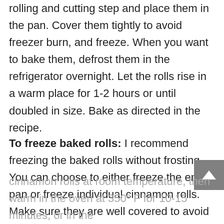rolling and cutting step and place them in the pan. Cover them tightly to avoid freezer burn, and freeze. When you want to bake them, defrost them in the refrigerator overnight. Let the rolls rise in a warm place for 1-2 hours or until doubled in size. Bake as directed in the recipe.
To freeze baked rolls: I recommend freezing the baked rolls without frosting. You can choose to either freeze the entire pan or freeze individual cinnamon rolls. Make sure they are well covered to avoid freezer burn. When ready to eat, defrost the cinnamon rolls at room temperature, then warm in the oven at 350º F for 10-15 minutes, or in the